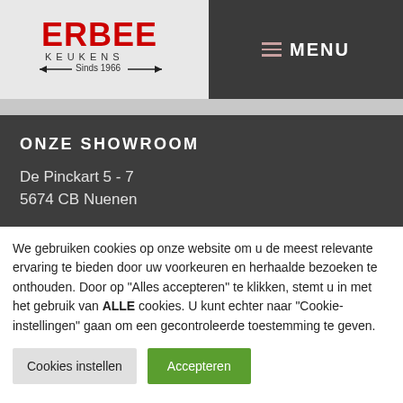[Figure (logo): Erbee Keukens logo with red bold text ERBEE, subtitle KEUKENS, and tagline Sinds 1966 with decorative lines]
≡ MENU
ONZE SHOWROOM
De Pinckart 5 - 7
5674 CB Nuenen
We gebruiken cookies op onze website om u de meest relevante ervaring te bieden door uw voorkeuren en herhaalde bezoeken te onthouden. Door op "Alles accepteren" te klikken, stemt u in met het gebruik van ALLE cookies. U kunt echter naar "Cookie-instellingen" gaan om een gecontroleerde toestemming te geven.
Cookies instellen
Accepteren